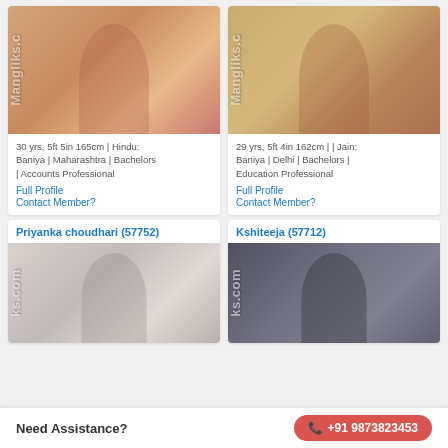[Figure (photo): Profile photo of woman in pink saree with watermark Mangliks.com]
30 yrs, 5ft 5in 165cm | Hindu: Baniya | Maharashtra | Bachelors | Accounts Professional
Full Profile
Contact Member?
[Figure (photo): Profile photo of woman wearing sunglasses with watermark Mangliks.com]
29 yrs, 5ft 4in 162cm | | Jain: Baniya | Delhi | Bachelors | Education Professional
Full Profile
Contact Member?
Priyanka choudhari (57752)
[Figure (photo): Profile photo of woman with watermark ks.com]
Kshiteeja (57712)
[Figure (photo): Profile photo of woman with watermark ks.com]
Need Assistance?
+91 9873823453